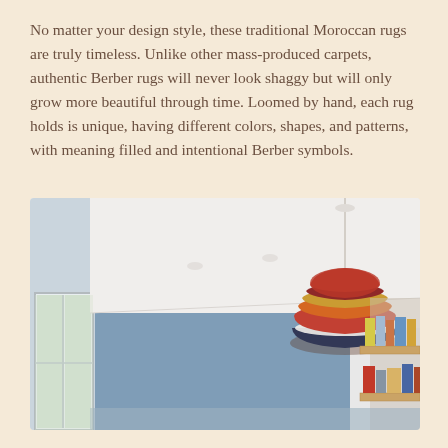No matter your design style, these traditional Moroccan rugs are truly timeless. Unlike other mass-produced carpets, authentic Berber rugs will never look shaggy but will only grow more beautiful through time. Loomed by hand, each rug holds is unique, having different colors, shapes, and patterns, with meaning filled and intentional Berber symbols.
[Figure (photo): Interior room photo showing a modern living space with a white ceiling, blue accent wall, large windows on the left letting in natural light, a colorful dome pendant lamp (striped in red, orange, yellow and dark blue) hanging from the ceiling on the right, and wooden floating shelves on the right wall holding books and small items.]